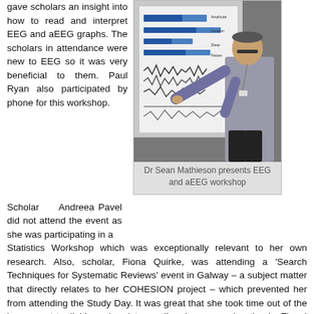gave scholars an insight into how to read and interpret EEG and aEEG graphs. The scholars in attendance were new to EEG so it was very beneficial to them. Paul Ryan also participated by phone for this workshop.
[Figure (photo): Dr Sean Mathieson pointing at a projected screen showing EEG/aEEG graphs during a workshop presentation]
Dr Sean Mathieson presents EEG and aEEG workshop
Scholar Andreea Pavel did not attend the event as she was participating in a Statistics Workshop which was exceptionally relevant to her own research. Also, scholar, Fiona Quirke, was attending a ‘Search Techniques for Systematic Reviews’ event in Galway – a subject matter that directly relates to her COHESION project – which prevented her from attending the Study Day. It was great that she took time out of the busy event to dial in and update us all on her research – thanks Fiona! Similarly, Andreea submitted an excellent project update to the team in advance of the meeting